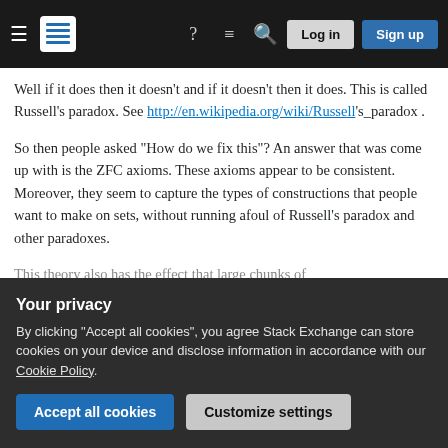Stack Exchange navigation bar with hamburger menu, logo, icons for help, chat, search, Log in and Sign up buttons
Well if it does then it doesn't and if it doesn't then it does. This is called Russell's paradox. See http://en.wikipedia.org/wiki/Russell's_paradox .
So then people asked "How do we fix this"? An answer that was come up with is the ZFC axioms. These axioms appear to be consistent. Moreover, they seem to capture the types of constructions that people want to make on sets, without running afoul of Russell's paradox and other paradoxes.
This theory also has the effect that large chunks of
Your privacy
By clicking "Accept all cookies", you agree Stack Exchange can store cookies on your device and disclose information in accordance with our Cookie Policy.
Accept all cookies  Customize settings